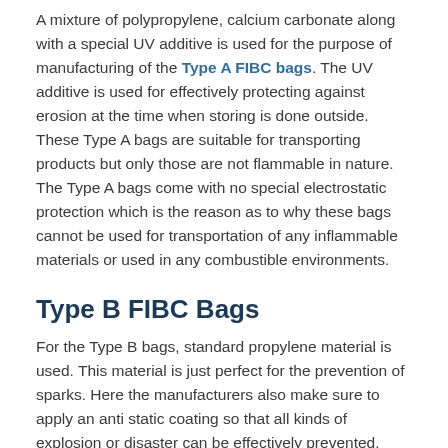A mixture of polypropylene, calcium carbonate along with a special UV additive is used for the purpose of manufacturing of the Type A FIBC bags. The UV additive is used for effectively protecting against erosion at the time when storing is done outside. These Type A bags are suitable for transporting products but only those are not flammable in nature. The Type A bags come with no special electrostatic protection which is the reason as to why these bags cannot be used for transportation of any inflammable materials or used in any combustible environments.
Type B FIBC Bags
For the Type B bags, standard propylene material is used. This material is just perfect for the prevention of sparks. Here the manufacturers also make sure to apply an anti static coating so that all kinds of explosion or disaster can be effectively prevented.
Type C FIBC Bags